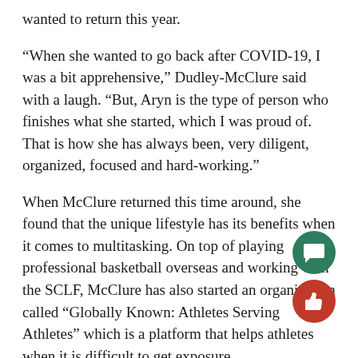wanted to return this year.
“When she wanted to go back after COVID-19, I was a bit apprehensive,” Dudley-McClure said with a laugh. “But, Aryn is the type of person who finishes what she started, which I was proud of. That is how she has always been, very diligent, organized, focused and hard-working.”
When McClure returned this time around, she found that the unique lifestyle has its benefits when it comes to multitasking. On top of playing professional basketball overseas and working with the SCLF, McClure has also started an organization called “Globally Known: Athletes Serving Athletes” which is a platform that helps athletes when it is difficult to get exposure .
“I am hoping for this to kind of serve as the middleman,” McClure said. “It can be hard for international players to get a lot of exposure, both college and pro, so this can be